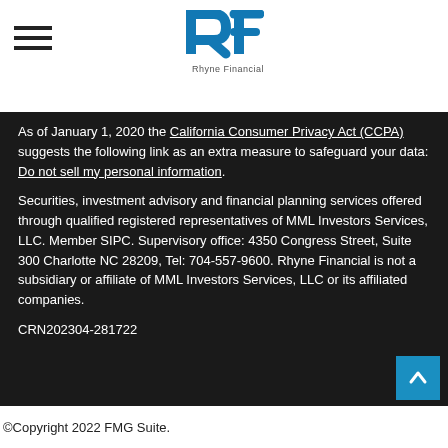[Figure (logo): Rhyne Financial logo with stylized RF mark in blue and company name below]
As of January 1, 2020 the California Consumer Privacy Act (CCPA) suggests the following link as an extra measure to safeguard your data: Do not sell my personal information.
Securities, investment advisory and financial planning services offered through qualified registered representatives of MML Investors Services, LLC. Member SIPC. Supervisory office: 4350 Congress Street, Suite 300 Charlotte NC 28209, Tel: 704-557-9600. Rhyne Financial is not a subsidiary or affiliate of MML Investors Services, LLC or its affiliated companies.
CRN202304-281722
©Copyright 2022 FMG Suite.